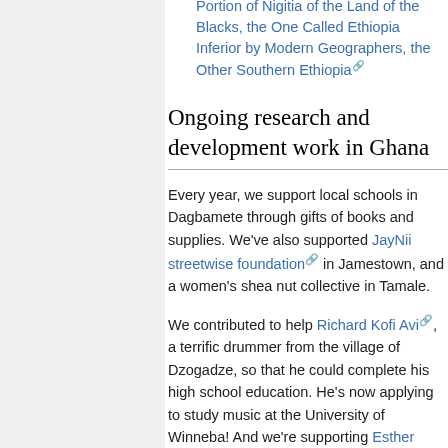Portion of Nigitia of the Land of the Blacks, the One Called Ethiopia Inferior by Modern Geographers, the Other Southern Ethiopia
Ongoing research and development work in Ghana
Every year, we support local schools in Dagbamete through gifts of books and supplies. We've also supported JayNii streetwise foundation in Jamestown, and a women's shea nut collective in Tamale.
We contributed to help Richard Kofi Avi, a terrific drummer from the village of Dzogadze, so that he could complete his high school education. He's now applying to study music at the University of Winneba! And we're supporting Esther Avensu, a very talented dancer and